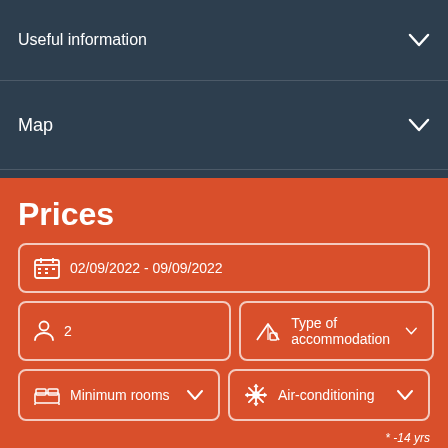Useful information
Map
Our Campers Reviews
Prices
02/09/2022 - 09/09/2022
2
Type of accommodation
Minimum rooms
Air-conditioning
* -14 yrs